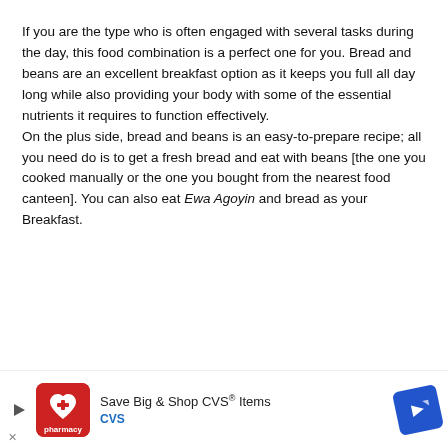If you are the type who is often engaged with several tasks during the day, this food combination is a perfect one for you. Bread and beans are an excellent breakfast option as it keeps you full all day long while also providing your body with some of the essential nutrients it requires to function effectively.
On the plus side, bread and beans is an easy-to-prepare recipe; all you need do is to get a fresh bread and eat with beans [the one you cooked manually or the one you bought from the nearest food canteen]. You can also eat Ewa Agoyin and bread as your Breakfast.
5. Akamu and Akara or Moin Moin
[Figure (other): CVS Pharmacy advertisement banner: Save Big & Shop CVS Items, with CVS logo and blue directional arrow sign]